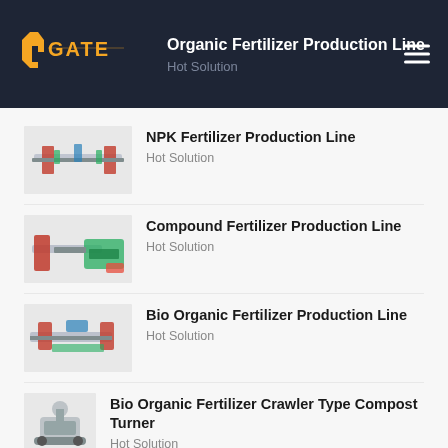[Figure (logo): GATE company logo in orange on dark navy background]
Organic Fertilizer Production Line
Hot Solution
NPK Fertilizer Production Line — Hot Solution
Compound Fertilizer Production Line — Hot Solution
Bio Organic Fertilizer Production Line — Hot Solution
Bio Organic Fertilizer Crawler Type Compost Turner — Hot Solution
Animal Manure Organic Fertilizer